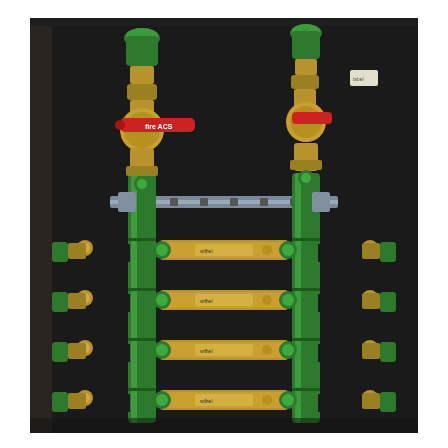[Figure (photo): Photograph of a plumbing manifold system inside a cabinet or wall enclosure. Two vertical green pipes (manifolds) run vertically, connected by a horizontal metal rail/bracket. Each green manifold has brass ball valves at the top (one with a red handle labeled 'fire ACS', the other with a partially visible red handle). Multiple brass flow meters or balancing valves with green end caps branch off horizontally from both sides of the manifolds at regular intervals. The background is a dark panel. Additional fittings, nuts and connectors are visible.]